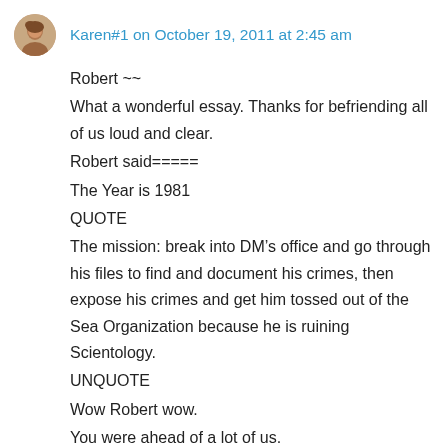Karen#1 on October 19, 2011 at 2:45 am
Robert ~~
What a wonderful essay. Thanks for befriending all of us loud and clear.
Robert said=====
The Year is 1981
QUOTE
The mission: break into DM’s office and go through his files to find and document his crimes, then expose his crimes and get him tossed out of the Sea Organization because he is ruining Scientology.
UNQUOTE
Wow Robert wow.
You were ahead of a lot of us.